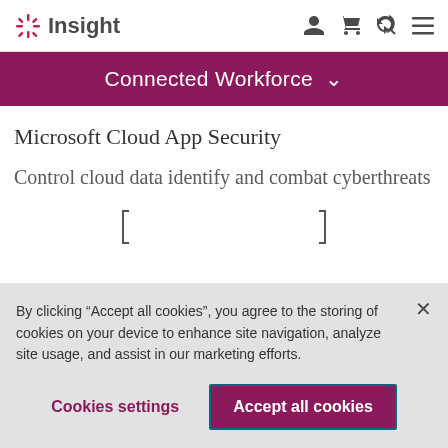Insight
Connected Workforce
Microsoft Cloud App Security
Control cloud data identify and combat cyberthreats
By clicking “Accept all cookies”, you agree to the storing of cookies on your device to enhance site navigation, analyze site usage, and assist in our marketing efforts.
Cookies settings
Accept all cookies